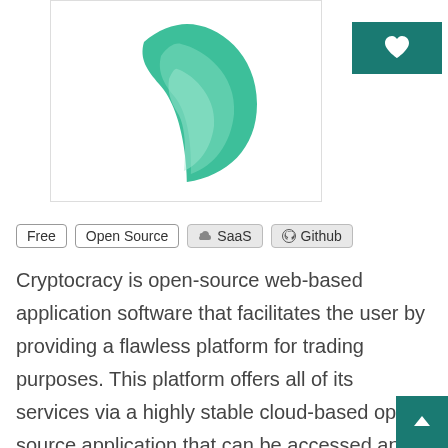[Figure (logo): Cryptocracy green leaf logo on white background with border]
Free
Open Source
SaaS
Github
Cryptocracy is open-source web-based application software that facilitates the user by providing a flawless platform for trading purposes. This platform offers all of its services via a highly stable cloud-based open-source application that can be accessed and used from any device and operating system including iOS, macOS, Windows as well as android.